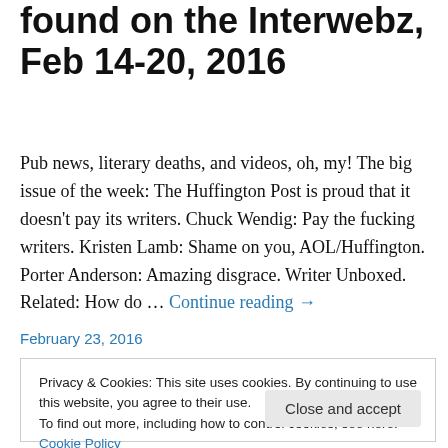found on the Interwebz, Feb 14-20, 2016
Pub news, literary deaths, and videos, oh, my! The big issue of the week: The Huffington Post is proud that it doesn't pay its writers. Chuck Wendig: Pay the fucking writers. Kristen Lamb: Shame on you, AOL/Huffington. Porter Anderson: Amazing disgrace. Writer Unboxed. Related: How do … Continue reading →
February 23, 2016
Privacy & Cookies: This site uses cookies. By continuing to use this website, you agree to their use.
To find out more, including how to control cookies, see here: Cookie Policy